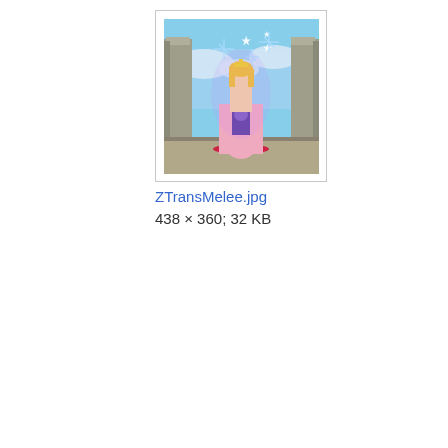[Figure (screenshot): A video game screenshot showing a princess character in a pink dress with sparkle effects, standing between stone columns with a sky background. Displayed as a thumbnail image in a bordered box.]
ZTransMelee.jpg
438 × 360; 32 KB